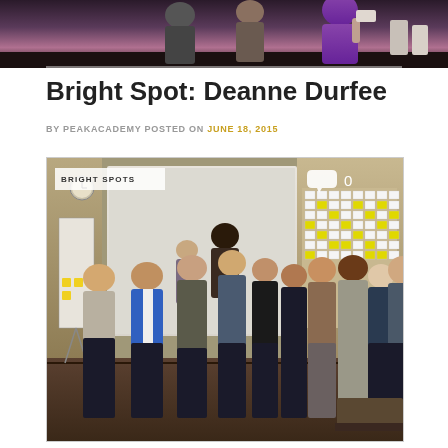[Figure (photo): Top portion of a group photo, partially cropped, showing people at what appears to be a workshop or training session. A person in purple is visible.]
Bright Spot: Deanne Durfee
BY PEAKACADEMY POSTED ON JUNE 18, 2015
[Figure (photo): Group photo of approximately 13 people standing in front of a projection screen in a meeting/training room. The image is labeled 'BRIGHT SPOTS' in the upper left corner and shows a comment icon with '0' in the upper right. Colorful sticky notes are visible on the wall to the right.]